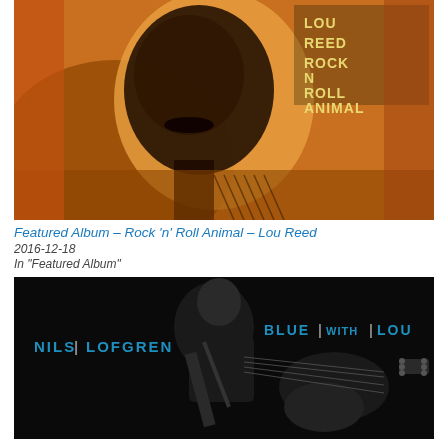[Figure (photo): Album cover for Lou Reed - Rock n Roll Animal. Shows a close-up portrait of Lou Reed with orange/amber tones, text reads LOU REED ROCK N ROLL ANIMAL in the upper right.]
Featured Album – Rock 'n' Roll Animal – Lou Reed
2016-12-18
In "Featured Album"
[Figure (photo): Album cover for Nils Lofgren - Blue With Lou. Shows Nils Lofgren playing electric guitar against a black background, text reads NILS LOFGREN BLUE WITH LOU.]